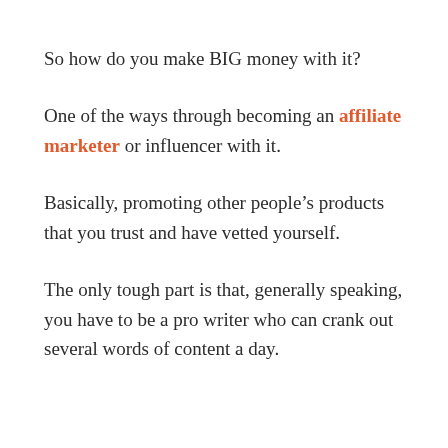So how do you make BIG money with it?
One of the ways through becoming an affiliate marketer or influencer with it.
Basically, promoting other people’s products that you trust and have vetted yourself.
The only tough part is that, generally speaking, you have to be a pro writer who can crank out several words of content a day.